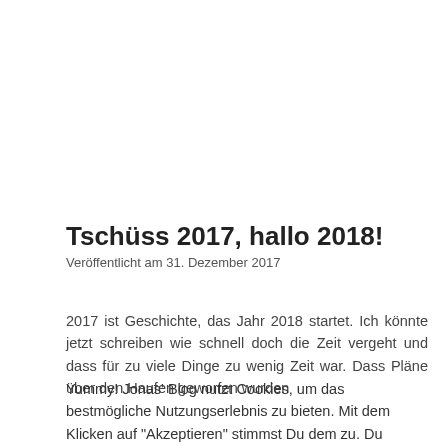Tschüss 2017, hallo 2018!
Veröffentlicht am 31. Dezember 2017
2017 ist Geschichte, das Jahr 2018 startet. Ich könnte jetzt schreiben wie schnell doch die Zeit vergeht und dass für zu viele Dinge zu wenig Zeit war. Dass Pläne über den Haufen geworfen wurden
Yummy! Jonas' Blog nutzt Cookies, um das bestmögliche Nutzungserlebnis zu bieten. Mit dem Klicken auf "Akzeptieren" stimmst Du dem zu. Du kannst jederzeit widerrufen.